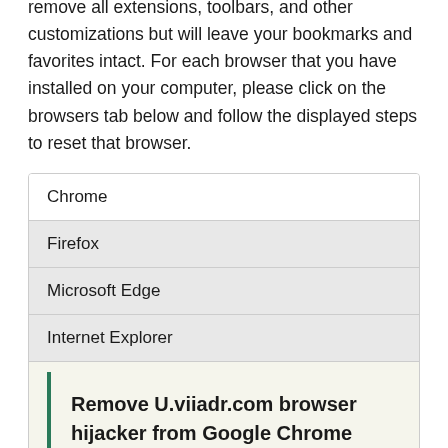remove all extensions, toolbars, and other customizations but will leave your bookmarks and favorites intact. For each browser that you have installed on your computer, please click on the browsers tab below and follow the displayed steps to reset that browser.
Chrome
Firefox
Microsoft Edge
Internet Explorer
Remove U.viiadr.com browser hijacker from Google Chrome